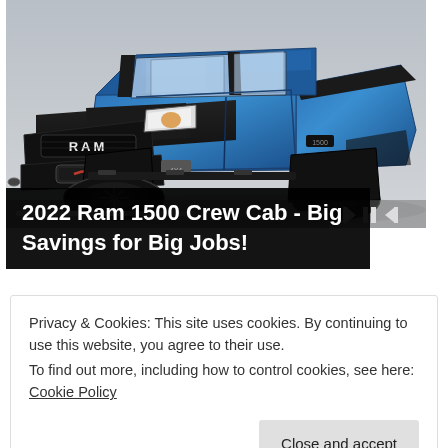[Figure (photo): A blue 2022 Ram 1500 Crew Cab pickup truck photographed from a front three-quarter angle against a light grey gradient background. The truck features a black grille with RAM lettering, black fender flares, and large off-road tires. Media playback controls (skip back, pause, skip forward) and a progress bar are visible at the bottom of the image area.]
2022 Ram 1500 Crew Cab - Big Savings for Big Jobs!
Privacy & Cookies: This site uses cookies. By continuing to use this website, you agree to their use.
To find out more, including how to control cookies, see here: Cookie Policy